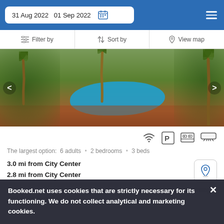31 Aug 2022  01 Sep 2022
Filter by  |  Sort by  |  View map
[Figure (photo): Aerial/ground view of a resort with a blue curved swimming pool surrounded by palm trees and terracotta paths, lush tropical greenery]
The largest option:  6 adults  •  2 bedrooms  •  3 beds
3.0 mi from City Center
2.8 mi from City Center
The 2-bedroom apartment entices guests with a seasonal outdoor swimming pool and a terrace.
Booked.net uses cookies that are strictly necessary for its functioning. We do not collect analytical and marketing cookies.